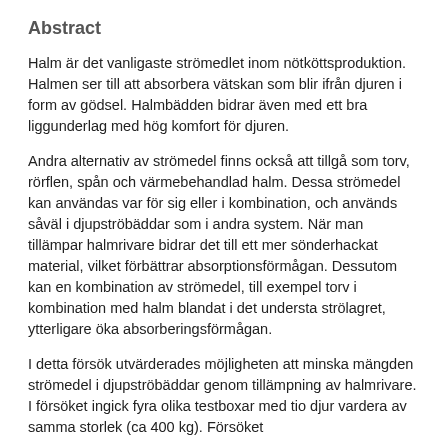Abstract
Halm är det vanligaste strömedlet inom nötköttsproduktion. Halmen ser till att absorbera vätskan som blir ifrån djuren i form av gödsel. Halmbädden bidrar även med ett bra liggunderlag med hög komfort för djuren.
Andra alternativ av strömedel finns också att tillgå som torv, rörflen, spån och värmebehandlad halm. Dessa strömedel kan användas var för sig eller i kombination, och används såväl i djupströbäddar som i andra system. När man tillämpar halmrivare bidrar det till ett mer sönderhackat material, vilket förbättrar absorptionsförmågan. Dessutom kan en kombination av strömedel, till exempel torv i kombination med halm blandat i det understa strölagret, ytterligare öka absorberingsförmågan.
I detta försök utvärderades möjligheten att minska mängden strömedel i djupströbäddar genom tillämpning av halmrivare. I försöket ingick fyra olika testboxar med tio djur vardera av samma storlek (ca 400 kg). Försöket